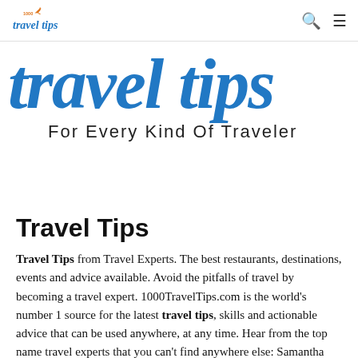1000 Travel Tips
[Figure (logo): 1000 Travel Tips logo with airplane icon in orange and blue script text]
travel tips
For Every Kind Of Traveler
Travel Tips
Travel Tips from Travel Experts. The best restaurants, destinations, events and advice available. Avoid the pitfalls of travel by becoming a travel expert. 1000TravelTips.com is the world's number 1 source for the latest travel tips, skills and actionable advice that can be used anywhere, at any time. Hear from the top name travel experts that you can't find anywhere else: Samantha Brown, Rick Steves, Peter